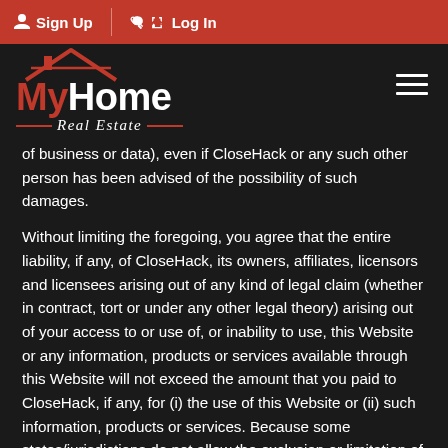Sign Up  Log In
[Figure (logo): MyHome Real Estate logo with house icon and hamburger menu icon]
of business or data), even if CloseHack or any such other person has been advised of the possibility of such damages.
Without limiting the foregoing, you agree that the entire liability, if any, of CloseHack, its owners, affiliates, licensors and licensees arising out of any kind of legal claim (whether in contract, tort or under any other legal theory) arising out of your access to or use of, or inability to use, this Website or any information, products or services available through this Website will not exceed the amount that you paid to CloseHack, if any, for (i) the use of this Website or (ii) such information, products or services. Because some states/jurisdictions do not allow the exclusion or limitation of liability for consequential or incidental damages, some of these limitations may not apply to you.